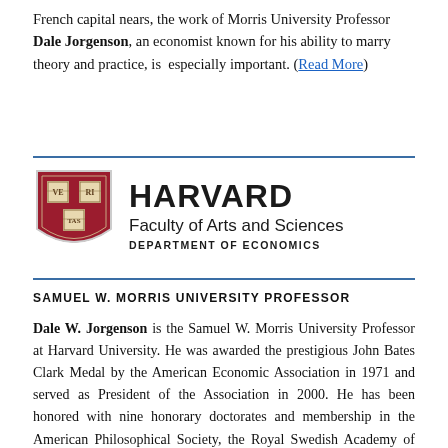French capital nears, the work of Morris University Professor Dale Jorgenson, an economist known for his ability to marry theory and practice, is especially important. (Read More)
[Figure (logo): Harvard University shield logo with VERITAS motto]
HARVARD Faculty of Arts and Sciences DEPARTMENT OF ECONOMICS
SAMUEL W. MORRIS UNIVERSITY PROFESSOR
Dale W. Jorgenson is the Samuel W. Morris University Professor at Harvard University. He was awarded the prestigious John Bates Clark Medal by the American Economic Association in 1971 and served as President of the Association in 2000. He has been honored with nine honorary doctorates and membership in the American Philosophical Society, the Royal Swedish Academy of Sciences, the U.S. National Academy of Sciences, and the